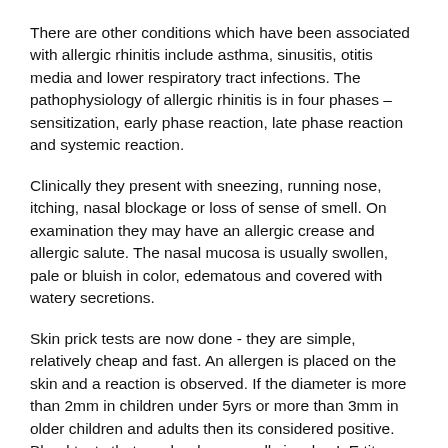There are other conditions which have been associated with allergic rhinitis include asthma, sinusitis, otitis media and lower respiratory tract infections. The pathophysiology of allergic rhinitis is in four phases – sensitization, early phase reaction, late phase reaction and systemic reaction.
Clinically they present with sneezing, running nose, itching, nasal blockage or loss of sense of smell. On examination they may have an allergic crease and allergic salute. The nasal mucosa is usually swollen, pale or bluish in color, edematous and covered with watery secretions.
Skin prick tests are now done - they are simple, relatively cheap and fast. An allergen is placed on the skin and a reaction is observed. If the diameter is more than 2mm in children under 5yrs or more than 3mm in older children and adults then its considered positive. Blood tests that can be done usually involve IgE titres measured by Cap RAST testing but is more expensive.
Treatment is by allergy avoidance and medication. Allergy avoidance can be by several ways. Some of this methods are encasing mattresses and pillows in plastic covers, hot wash bedding every 1-2 weeks, removing objects that accumulate dust,